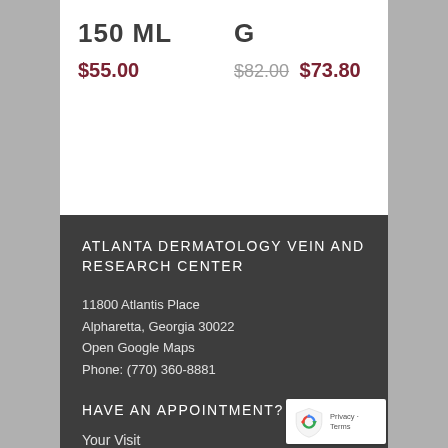150 ML
$55.00
G
$82.00 $73.80
ATLANTA DERMATOLOGY VEIN AND RESEARCH CENTER
11800 Atlantis Place
Alpharetta, Georgia 30022
Open Google Maps
Phone: (770) 360-8881
HAVE AN APPOINTMENT?
Your Visit
[Figure (logo): Google reCAPTCHA badge with shield icon and Privacy - Terms text]